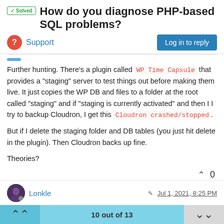How do you diagnose PHP-based SQL problems?
Support
Further hunting. There's a plugin called WP Time Capsule that provides a "staging" server to test things out before making them live. It just copies the WP DB and files to a folder at the root called "staging" and if "staging is currently activated" and then I I try to backup Cloudron, I get this Cloudron crashed/stopped.
But if I delete the staging folder and DB tables (you just hit delete in the plugin). Then Cloudron backs up fine.
Theories?
Lonkle  Jul 1, 2021, 8:25 PM
10 out of 13